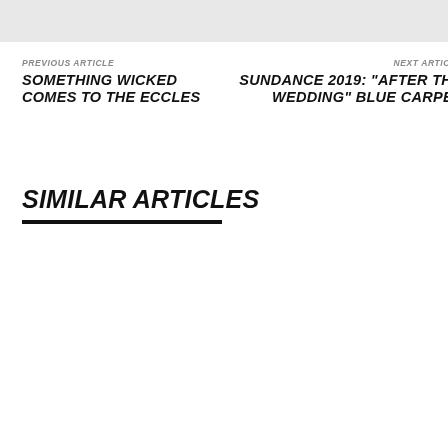[Figure (other): Light gray header bar at top of page]
PREVIOUS ARTICLE
SOMETHING WICKED COMES TO THE ECCLES
NEXT ARTICLE
SUNDANCE 2019: "AFTER THE WEDDING" BLUE CARPET
SIMILAR ARTICLES